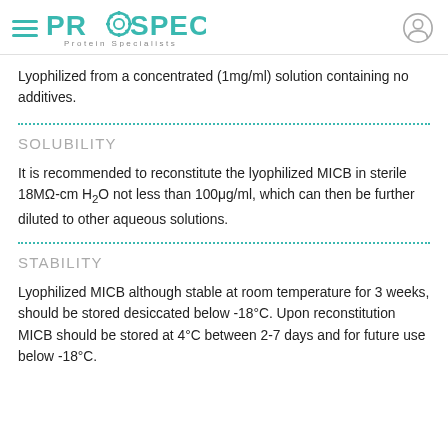[Figure (logo): ProSpec Protein Specialists logo with hamburger menu icon and user account icon]
Lyophilized from a concentrated (1mg/ml) solution containing no additives.
SOLUBILITY
It is recommended to reconstitute the lyophilized MICB in sterile 18MΩ-cm H2O not less than 100μg/ml, which can then be further diluted to other aqueous solutions.
STABILITY
Lyophilized MICB although stable at room temperature for 3 weeks, should be stored desiccated below -18°C. Upon reconstitution MICB should be stored at 4°C between 2-7 days and for future use below -18°C.